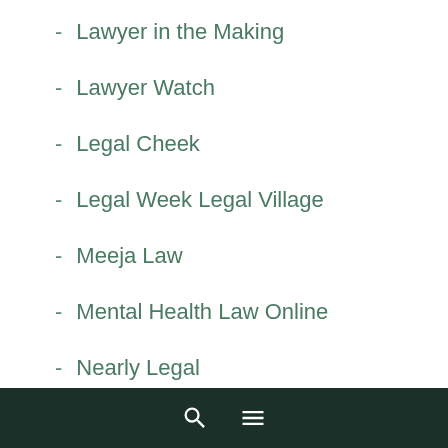Lawyer in the Making
Lawyer Watch
Legal Cheek
Legal Week Legal Village
Meeja Law
Mental Health Law Online
Nearly Legal
Oxford Human Rights Hub
Panopticon Blog
PHD Studies in Human Rights
Pink Tape
RightsInfo
RightsNI
RPC Privacy Blog
Strasbourg Observers
The Human Rights Blog
search and menu navigation icons